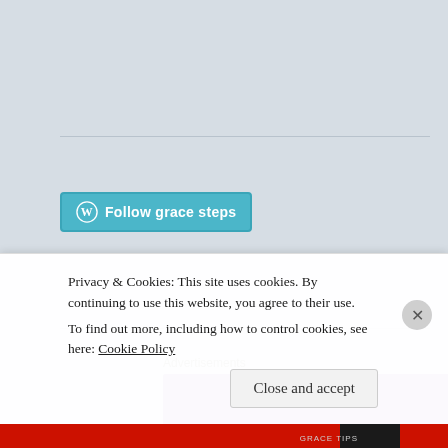[Figure (screenshot): WordPress Follow button: cyan/teal button with WordPress logo and text 'Follow grace steps']
Advertisements
[Figure (logo): WooCommerce advertisement banner with purple background and WooCommerce logo in white text with speech bubble Woo icon]
Privacy & Cookies: This site uses cookies. By continuing to use this website, you agree to their use.
To find out more, including how to control cookies, see here: Cookie Policy
Close and accept